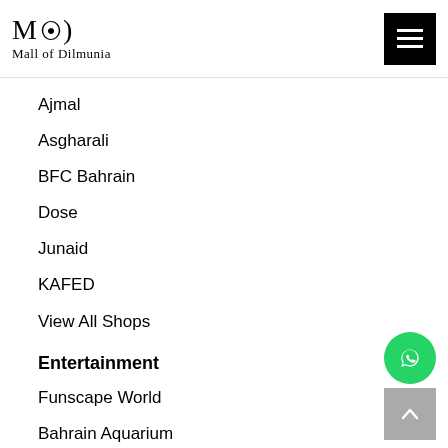Mall of Dilmunia
Ajmal
Asgharali
BFC Bahrain
Dose
Junaid
KAFED
View All Shops
Entertainment
Funscape World
Bahrain Aquarium
The Boulevard
Dilmunia Canal & Dancing Fountain
[Figure (logo): WhatsApp chat button (green circle with phone icon)]
[Figure (other): Scroll to top button (grey square with up arrow)]